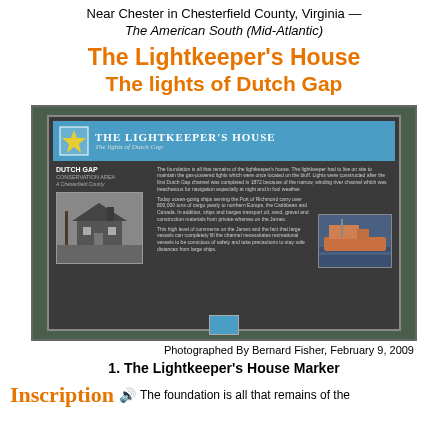Near Chester in Chesterfield County, Virginia — The American South (Mid-Atlantic)
The Lightkeeper's House
The lights of Dutch Gap
[Figure (photo): Photograph of an informational marker sign titled 'The Lightkeeper's House - The lights of Dutch Gap' with Dutch Gap Conservation Area branding, showing a black-and-white photo of the lightkeeper's house, text about the history of lights at Dutch Gap, and a color photo of a ship at port.]
Photographed By Bernard Fisher, February 9, 2009
1. The Lightkeeper's House Marker
Inscription  The foundation is all that remains of the